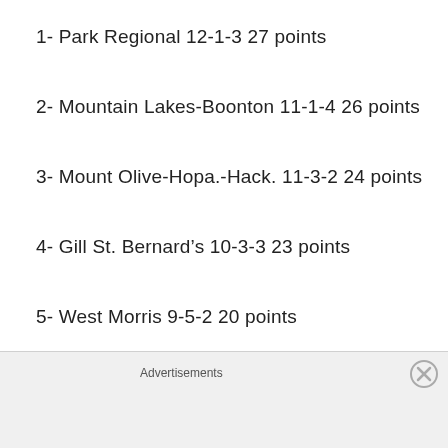1- Park Regional 12-1-3 27 points
2- Mountain Lakes-Boonton 11-1-4 26 points
3- Mount Olive-Hopa.-Hack. 11-3-2 24 points
4- Gill St. Bernard’s 10-3-3 23 points
5- West Morris 9-5-2 20 points
6- High Point-Wallkill Val. 5-10-1 11 points
7- Newton-Lenape Valley 3-11-2 8 points
8- [partially visible]
Advertisements